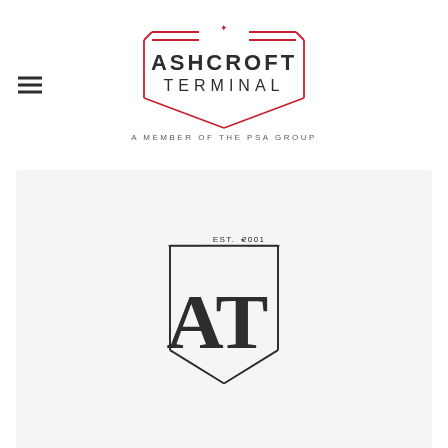[Figure (logo): Ashcroft Terminal logo — a red badge outline with a maple leaf at the top, text ASHCROFT TERMINAL inside, and A MEMBER OF THE PSA GROUP below]
[Figure (logo): Ashcroft Terminal secondary logo — a pentagon/shield outline with EST. maple-leaf 2001 at the top and stylized AT monogram inside, on a light grey background]